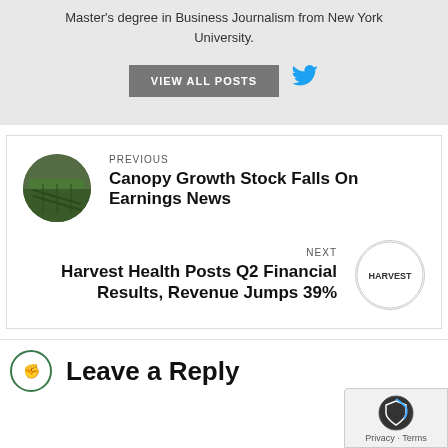Master's degree in Business Journalism from New York University.
VIEW ALL POSTS
PREVIOUS
Canopy Growth Stock Falls On Earnings News
NEXT
Harvest Health Posts Q2 Financial Results, Revenue Jumps 39%
Leave a Reply